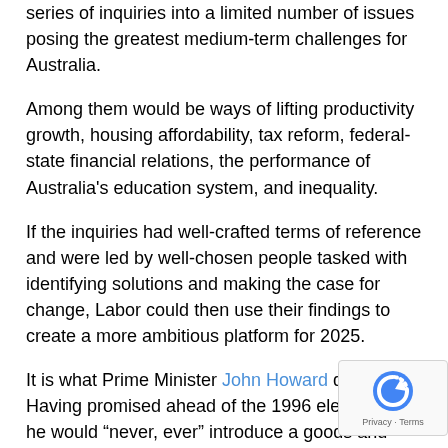series of inquiries into a limited number of issues posing the greatest medium-term challenges for Australia.
Among them would be ways of lifting productivity growth, housing affordability, tax reform, federal-state financial relations, the performance of Australia's education system, and inequality.
If the inquiries had well-crafted terms of reference and were led by well-chosen people tasked with identifying solutions and making the case for change, Labor could then use their findings to create a more ambitious platform for 2025.
It is what Prime Minister John Howard did. Having promised ahead of the 1996 election that he would “never, ever” introduce a goods and services tax, he used that term to make the case for introducing such a tax in his second term, put it to the election, and won.